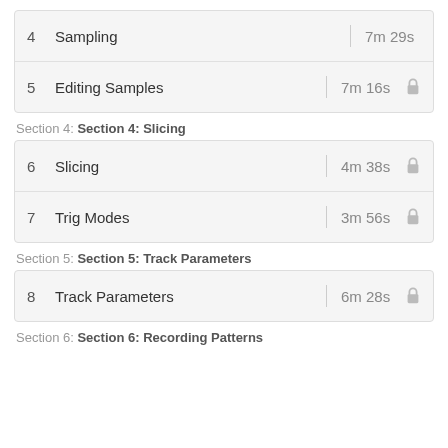4  Sampling  7m 29s
5  Editing Samples  7m 16s  [locked]
Section 4: Section 4: Slicing
6  Slicing  4m 38s  [locked]
7  Trig Modes  3m 56s  [locked]
Section 5: Section 5: Track Parameters
8  Track Parameters  6m 28s  [locked]
Section 6: Section 6: Recording Patterns